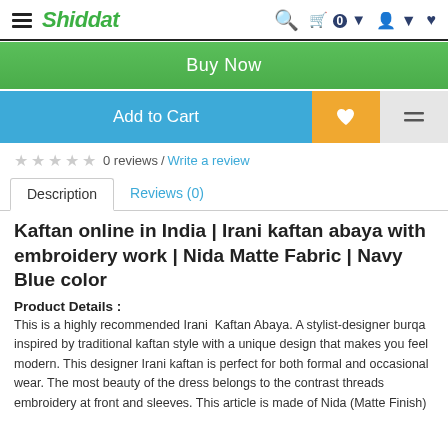Shiddat — navigation header with hamburger menu, logo, search, cart (0), user, wishlist icons
Buy Now
Add to Cart
0 reviews / Write a review
Description | Reviews (0)
Kaftan online in India | Irani kaftan abaya with embroidery work | Nida Matte Fabric | Navy Blue color
Product Details :
This is a highly recommended Irani  Kaftan Abaya. A stylist-designer burqa inspired by traditional kaftan style with a unique design that makes you feel modern. This designer Irani kaftan is perfect for both formal and occasional wear. The most beauty of the dress belongs to the contrast threads embroidery at front and sleeves. This article is made of Nida (Matte Finish)